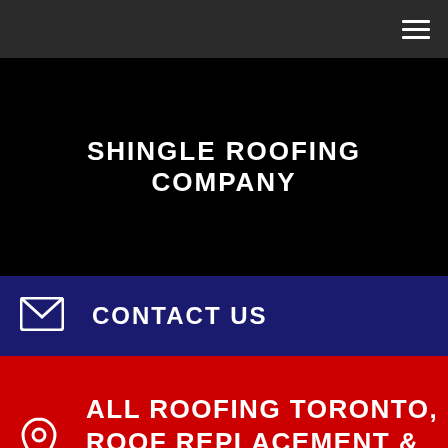☰
SHINGLE ROOFING COMPANY
✉ CONTACT US
ALL ROOFING TORONTO, ROOF REPLACEMENT & SKYLIGHTS